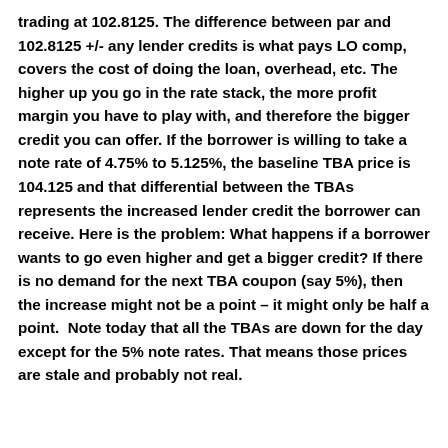trading at 102.8125. The difference between par and 102.8125 +/- any lender credits is what pays LO comp, covers the cost of doing the loan, overhead, etc. The higher up you go in the rate stack, the more profit margin you have to play with, and therefore the bigger credit you can offer. If the borrower is willing to take a note rate of 4.75% to 5.125%, the baseline TBA price is 104.125 and that differential between the TBAs represents the increased lender credit the borrower can receive. Here is the problem: What happens if a borrower wants to go even higher and get a bigger credit? If there is no demand for the next TBA coupon (say 5%), then the increase might not be a point – it might only be half a point.  Note today that all the TBAs are down for the day except for the 5% note rates. That means those prices are stale and probably not real.